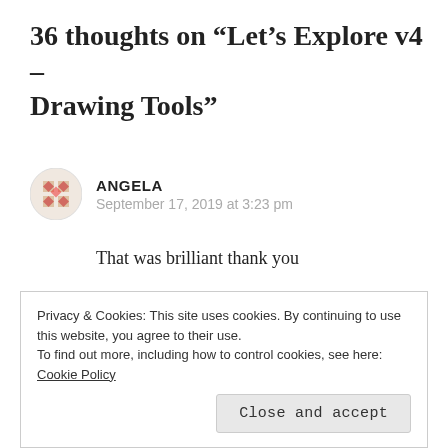36 thoughts on “Let’s Explore v4 – Drawing Tools”
ANGELA
September 17, 2019 at 3:23 pm
That was brilliant thank you
★ Like
Reply →
Privacy & Cookies: This site uses cookies. By continuing to use this website, you agree to their use.
To find out more, including how to control cookies, see here: Cookie Policy
Close and accept
You are welcome! So glad it helped!